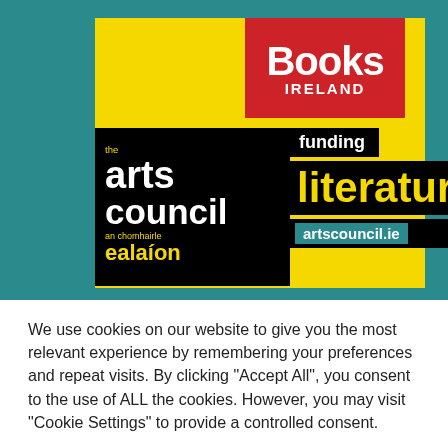[Figure (logo): Books Ireland logo on red background with yellow Arts Council funding literature artscouncil.ie banner on teal background]
We use cookies on our website to give you the most relevant experience by remembering your preferences and repeat visits. By clicking "Accept All", you consent to the use of ALL the cookies. However, you may visit "Cookie Settings" to provide a controlled consent.
Cookie Settings
Accept All